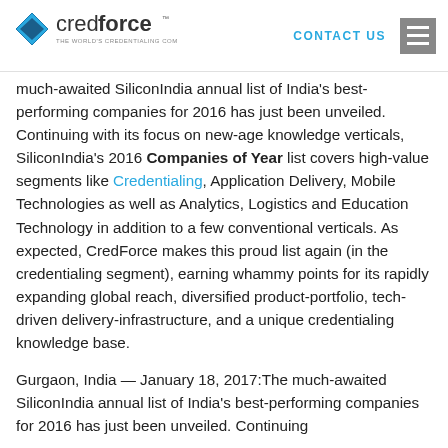credforce — THE WORLD'S CREDENTIALING COMPANY | CONTACT US
much-awaited SiliconIndia annual list of India's best-performing companies for 2016 has just been unveiled. Continuing with its focus on new-age knowledge verticals, SiliconIndia's 2016 Companies of Year list covers high-value segments like Credentialing, Application Delivery, Mobile Technologies as well as Analytics, Logistics and Education Technology in addition to a few conventional verticals. As expected, CredForce makes this proud list again (in the credentialing segment), earning whammy points for its rapidly expanding global reach, diversified product-portfolio, tech-driven delivery-infrastructure, and a unique credentialing knowledge base.
Gurgaon, India — January 18, 2017:The much-awaited SiliconIndia annual list of India's best-performing companies for 2016 has just been unveiled. Continuing